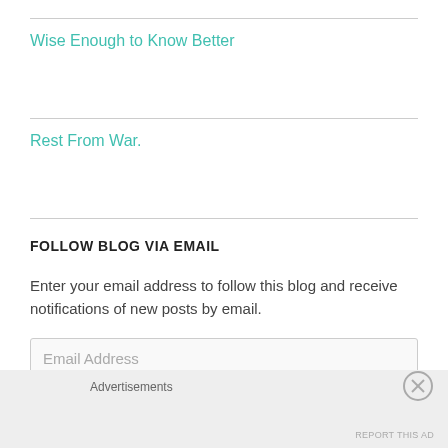Wise Enough to Know Better
Rest From War.
FOLLOW BLOG VIA EMAIL
Enter your email address to follow this blog and receive notifications of new posts by email.
Email Address
Follow
Advertisements